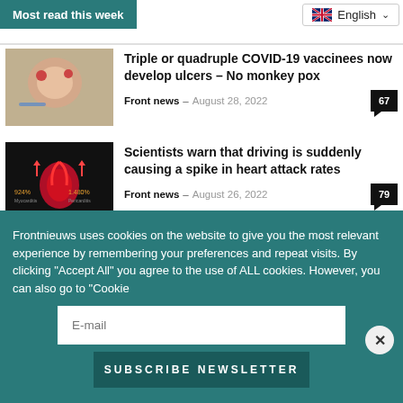Most read this week
Triple or quadruple COVID-19 vaccinees now develop ulcers – No monkey pox | Front news – August 28, 2022 | 67
Scientists warn that driving is suddenly causing a spike in heart attack rates | Front news – August 26, 2022 | 79
Dutch Prime Minister and WEF Global Leader
Frontnieuws uses cookies on the website to give you the most relevant experience by remembering your preferences and repeat visits. By clicking "Accept All" you agree to the use of ALL cookies. However, you can also go to "Cookie
E-mail
Subscribe Newsletter